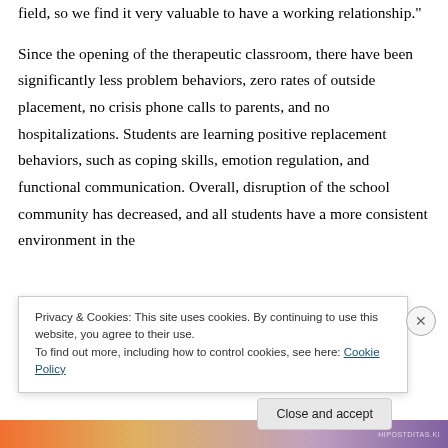field, so we find it very valuable to have a working relationship."
Since the opening of the therapeutic classroom, there have been significantly less problem behaviors, zero rates of outside placement, no crisis phone calls to parents, and no hospitalizations. Students are learning positive replacement behaviors, such as coping skills, emotion regulation, and functional communication. Overall, disruption of the school community has decreased, and all students have a more consistent environment in the
Privacy & Cookies: This site uses cookies. By continuing to use this website, you agree to their use.
To find out more, including how to control cookies, see here: Cookie Policy
Close and accept